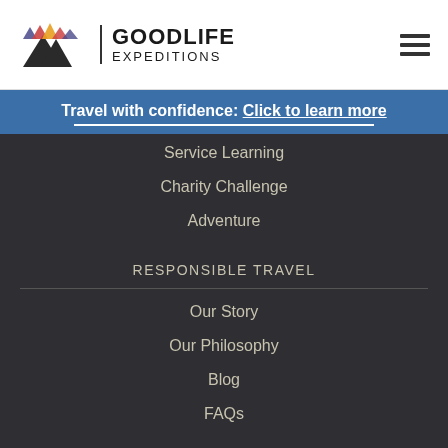[Figure (logo): Goodlife Expeditions logo with mountain icon and text]
Travel with confidence: Click to learn more
Service Learning
Charity Challenge
Adventure
RESPONSIBLE TRAVEL
Our Story
Our Philosophy
Blog
FAQs
WHY GOOD LIFE EXPEDITIONS
Expert Travel Team
Travel Insurance